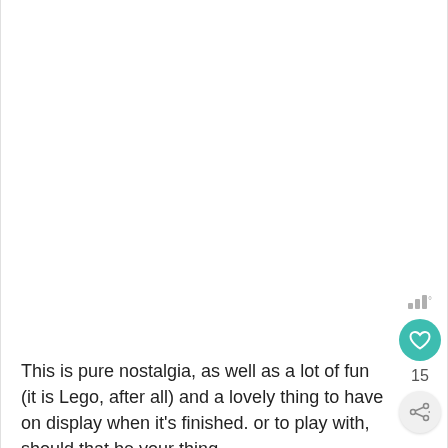[Figure (other): UI overlay with signal/wifi bars icon, teal heart/like button, count '15', and share button]
This is pure nostalgia, as well as a lot of fun (it is Lego, after all) and a lovely thing to have on display when it's finished. or to play with, should that be your thing.